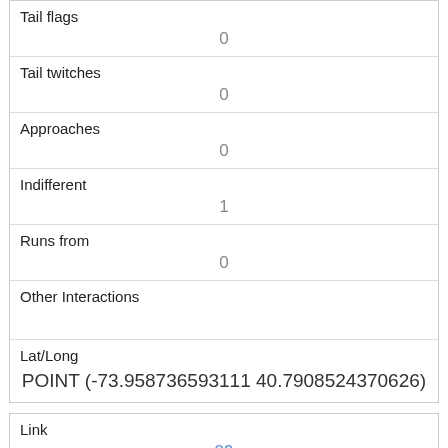| Tail flags | 0 |
| Tail twitches | 0 |
| Approaches | 0 |
| Indifferent | 1 |
| Runs from | 0 |
| Other Interactions |  |
| Lat/Long | POINT (-73.958736593111 40.7908524370626) |
| Link | 29 |
| rowid | 29 |
| longitude | -73.96717867152559 |